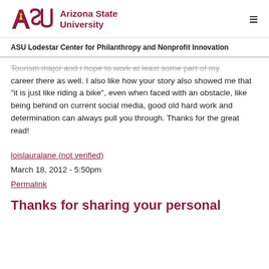ASU Arizona State University
ASU Lodestar Center for Philanthropy and Nonprofit Innovation
Tourism major and I hope to work at least some part of my career there as well. I also like how your story also showed me that "it is just like riding a bike", even when faced with an obstacle, like being behind on current social media, good old hard work and determination can always pull you through. Thanks for the great read!
loislauralane (not verified)
March 18, 2012 - 5:50pm
Permalink
Thanks for sharing your personal